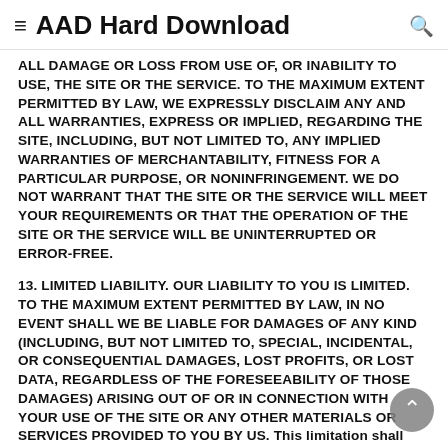AAD Hard Download
ALL DAMAGE OR LOSS FROM USE OF, OR INABILITY TO USE, THE SITE OR THE SERVICE. TO THE MAXIMUM EXTENT PERMITTED BY LAW, WE EXPRESSLY DISCLAIM ANY AND ALL WARRANTIES, EXPRESS OR IMPLIED, REGARDING THE SITE, INCLUDING, BUT NOT LIMITED TO, ANY IMPLIED WARRANTIES OF MERCHANTABILITY, FITNESS FOR A PARTICULAR PURPOSE, OR NONINFRINGEMENT. WE DO NOT WARRANT THAT THE SITE OR THE SERVICE WILL MEET YOUR REQUIREMENTS OR THAT THE OPERATION OF THE SITE OR THE SERVICE WILL BE UNINTERRUPTED OR ERROR-FREE.
13. LIMITED LIABILITY. OUR LIABILITY TO YOU IS LIMITED. TO THE MAXIMUM EXTENT PERMITTED BY LAW, IN NO EVENT SHALL WE BE LIABLE FOR DAMAGES OF ANY KIND (INCLUDING, BUT NOT LIMITED TO, SPECIAL, INCIDENTAL, OR CONSEQUENTIAL DAMAGES, LOST PROFITS, OR LOST DATA, REGARDLESS OF THE FORESEEABILITY OF THOSE DAMAGES) ARISING OUT OF OR IN CONNECTION WITH YOUR USE OF THE SITE OR ANY OTHER MATERIALS OR SERVICES PROVIDED TO YOU BY US. This limitation shall apply regardless of whether the damages arise out of breach of contract, tort, or any other legal